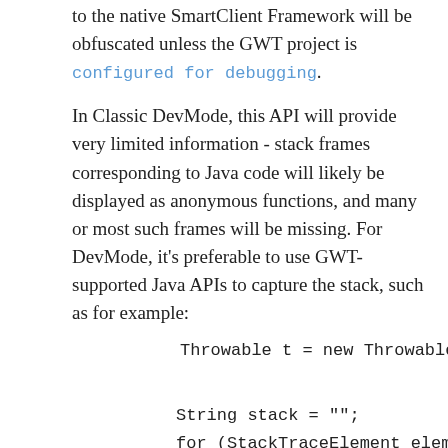to the native SmartClient Framework will be obfuscated unless the GWT project is configured for debugging.
In Classic DevMode, this API will provide very limited information - stack frames corresponding to Java code will likely be displayed as anonymous functions, and many or most such frames will be missing. For DevMode, it's preferable to use GWT-supported Java APIs to capture the stack, such as for example: